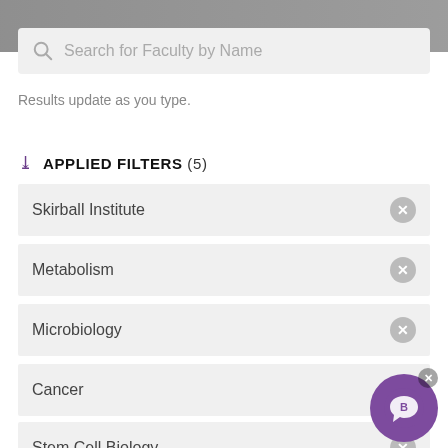[Figure (screenshot): Top background image showing a blurred outdoor scene, partially visible]
Search for Faculty by Name
Results update as you type.
APPLIED FILTERS (5)
Skirball Institute
Metabolism
Microbiology
Cancer
Stem Cell Biology